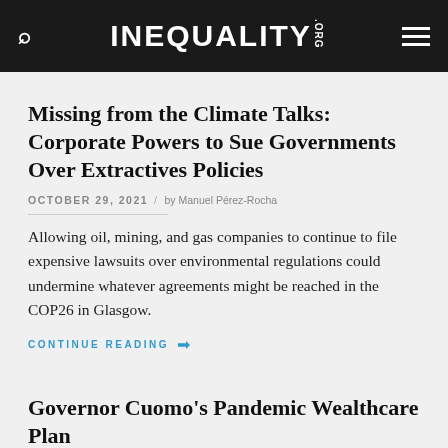INEQUALITY.ORG
Missing from the Climate Talks: Corporate Powers to Sue Governments Over Extractives Policies
OCTOBER 29, 2021 / by Manuel Pérez-Rocha
Allowing oil, mining, and gas companies to continue to file expensive lawsuits over environmental regulations could undermine whatever agreements might be reached in the COP26 in Glasgow.
CONTINUE READING →
Governor Cuomo's Pandemic Wealthcare Plan
JUNE 8, 2020 / by Michael Kink and Kevin Connor